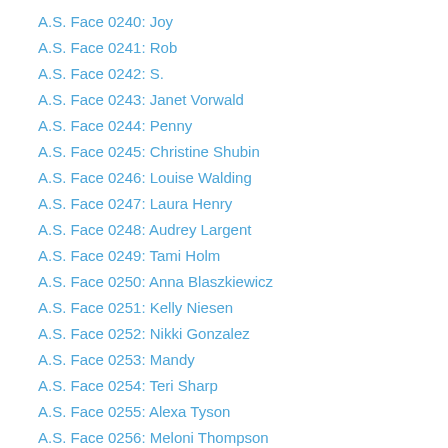A.S. Face 0240: Joy
A.S. Face 0241: Rob
A.S. Face 0242: S.
A.S. Face 0243: Janet Vorwald
A.S. Face 0244: Penny
A.S. Face 0245: Christine Shubin
A.S. Face 0246: Louise Walding
A.S. Face 0247: Laura Henry
A.S. Face 0248: Audrey Largent
A.S. Face 0249: Tami Holm
A.S. Face 0250: Anna Blaszkiewicz
A.S. Face 0251: Kelly Niesen
A.S. Face 0252: Nikki Gonzalez
A.S. Face 0253: Mandy
A.S. Face 0254: Teri Sharp
A.S. Face 0255: Alexa Tyson
A.S. Face 0256: Meloni Thompson
A.S. Face 0257: Paul Forster
A.S. Face 0258: Layne Muir
A.S. Face 0259: Seth